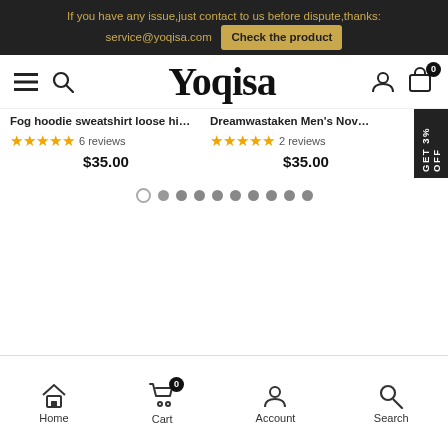If you have any issue,just contact to us before dispute,thanks: service@yoqisa.com  Check the product
[Figure (screenshot): Yoqisa e-commerce website header with logo, hamburger menu, search, account and cart icons]
Fog hoodie sweatshirt loose hi...
★★★★★ 6 reviews
$35.00
Dreamwastaken Men's No...
★★★★★ 2 reviews
$35.00
Home   Cart   Account   Search